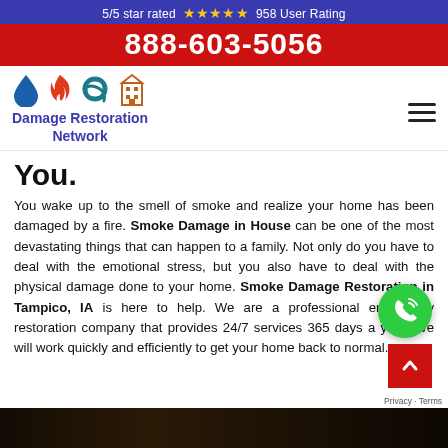5/5 star rated ★★★★★ 958 User Rating
888-603-5056
Damage Restoration Network
You.
You wake up to the smell of smoke and realize your home has been damaged by a fire. Smoke Damage in House can be one of the most devastating things that can happen to a family. Not only do you have to deal with the emotional stress, but you also have to deal with the physical damage done to your home. Smoke Damage Restoration in Tampico, IA is here to help. We are a professional emergency restoration company that provides 24/7 services 365 days a year. We will work quickly and efficiently to get your home back to normal.
[Figure (photo): Dark bottom photo strip showing interior damage scene]